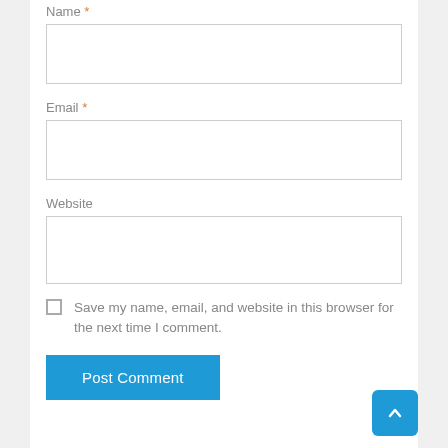Name *
[Figure (other): Empty text input box for Name field]
Email *
[Figure (other): Empty text input box for Email field]
Website
[Figure (other): Empty text input box for Website field]
Save my name, email, and website in this browser for the next time I comment.
Post Comment